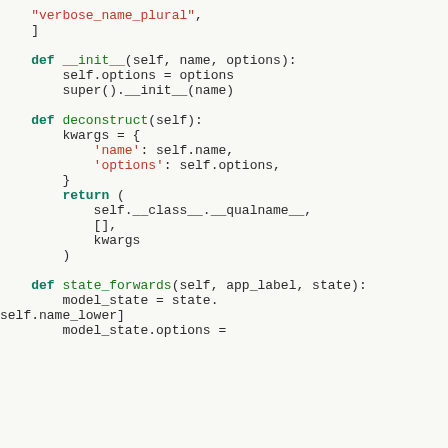Python code snippet showing class methods: __init__, deconstruct, state_forwards
[Figure (screenshot): Code editor screenshot showing Python class methods with syntax highlighting. Contains def __init__(self, name, options), def deconstruct(self), and def state_forwards(self, app_label, state) methods. Overlaid UI tooltips for 'Getting Help', 'Language: id', and 'Documentation version: 2.0'.]